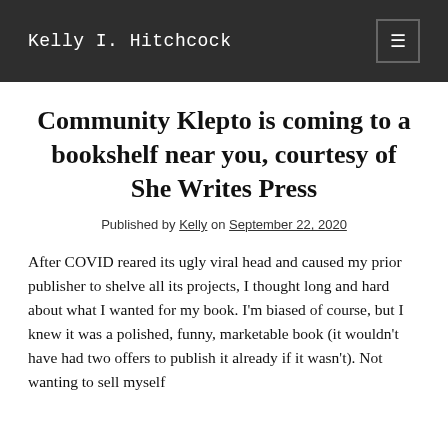Kelly I. Hitchcock
Community Klepto is coming to a bookshelf near you, courtesy of She Writes Press
Published by Kelly on September 22, 2020
After COVID reared its ugly viral head and caused my prior publisher to shelve all its projects, I thought long and hard about what I wanted for my book. I'm biased of course, but I knew it was a polished, funny, marketable book (it wouldn't have had two offers to publish it already if it wasn't). Not wanting to sell myself